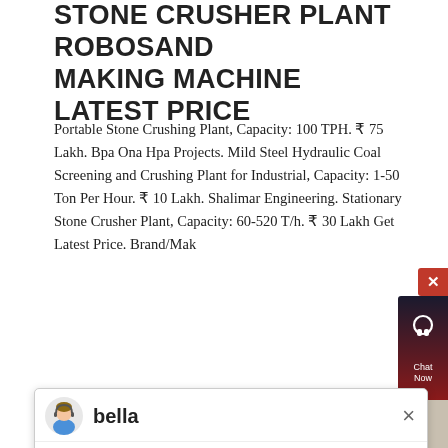STONE CRUSHER PLANT ROBOSAND MAKING MACHINE LATEST PRICE
Portable Stone Crushing Plant, Capacity: 100 TPH. ₹ 75 Lakh. Bpa Ona Hpa Projects. Mild Steel Hydraulic Coal Screening and Crushing Plant for Industrial, Capacity: 1-50 Ton Per Hour. ₹ 10 Lakh. Shalimar Engineering. Stationary Stone Crusher Plant, Capacity: 60-520 T/h. ₹ 30 Lakh Get Latest Price. Brand/Mak
[Figure (screenshot): Chat popup with avatar of 'bella' and welcome message: 'Welcome to Liming Heavy Industry! Now our on-line service is chatting with you! please choose: 1.English']
[Figure (photo): Photo of a stone crusher / industrial plant machinery with chimneys and equipment]
STONE CRUSHER 500 TONS MACHINE, LIME CLAY CEMENT